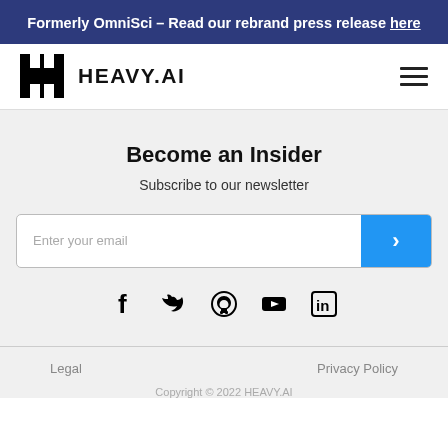Formerly OmniSci – Read our rebrand press release here
[Figure (logo): HEAVY.AI logo with black H-shaped icon and HEAVY.AI wordmark]
Become an Insider
Subscribe to our newsletter
Enter your email
[Figure (infographic): Social media icons: Facebook, Twitter, GitHub, YouTube, LinkedIn]
Legal   Privacy Policy   Copyright © 2022 HEAVY.AI